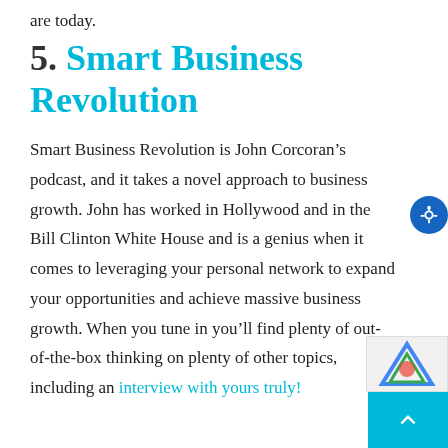are today.
5.  Smart Business Revolution
Smart Business Revolution is John Corcoran’s podcast, and it takes a novel approach to business growth. John has worked in Hollywood and in the Bill Clinton White House and is a genius when it comes to leveraging your personal network to expand your opportunities and achieve massive business growth. When you tune in you’ll find plenty of out-of-the-box thinking on plenty of other topics, including an interview with yours truly!